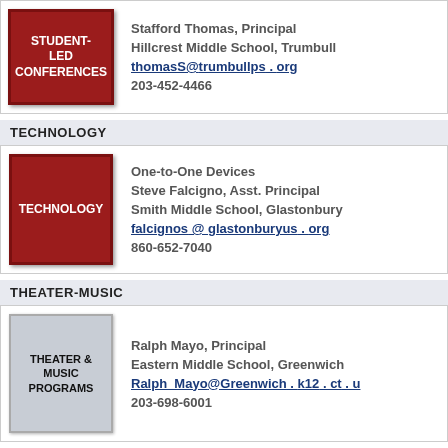[Figure (illustration): Red square graphic with white bold text reading STUDENT-LED CONFERENCES]
Stafford Thomas, Principal
Hillcrest Middle School, Trumbull
thomasS@trumbullps.org
203-452-4466
TECHNOLOGY
[Figure (illustration): Red square graphic with white bold text reading TECHNOLOGY]
One-to-One Devices
Steve Falcigno, Asst. Principal
Smith Middle School, Glastonbury
falcignos@glastonburyus.org
860-652-7040
THEATER-MUSIC
[Figure (illustration): Gray square graphic with black bold text reading THEATER & MUSIC PROGRAMS]
Ralph Mayo, Principal
Eastern Middle School, Greenwich
Ralph_Mayo@Greenwich.k12.ct.us
203-698-6001